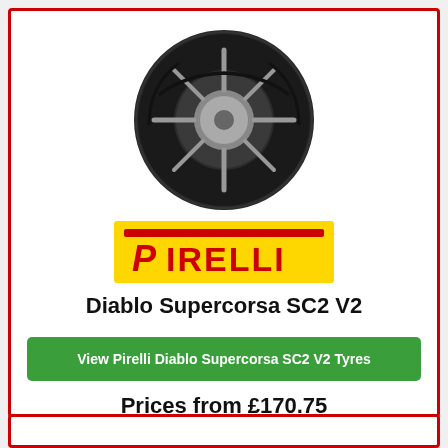[Figure (photo): Black motorcycle tire with chrome/black spoked rim, Pirelli Diablo Supercorsa SC2 V2, viewed at an angle]
[Figure (logo): Pirelli logo: yellow rectangle background with red stylized P and red IRELLI text]
Diablo Supercorsa SC2 V2
View Pirelli Diablo Supercorsa SC2 V2 Tyres
Prices from £170.75